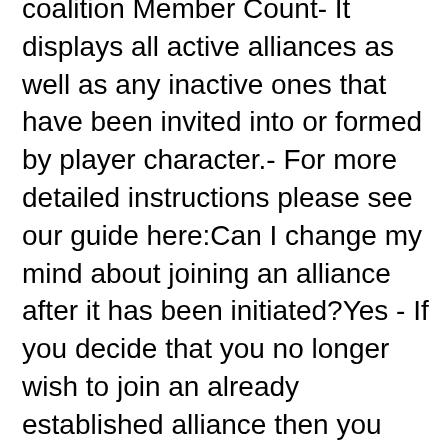coalition Member Count- It displays all active alliances as well as any inactive ones that have been invited into or formed by player character.- For more detailed instructions please see our guide here:Can I change my mind about joining an alliance after it has been initiated?Yes - If you decide that you no longer wish to join an already established alliance then you can simply delete it via unilateral decision making or negotiation process initiated by player character.- For more detailed instructions please see our guide here:Can I break away from an existing coalition without initiating negotiations?No - Breaking away from an existing coalition requires initiating negotiations with all members involved.- For more detailed instructions please see our guide here:What are some benefits